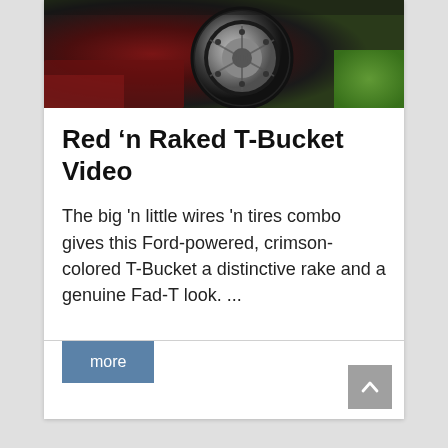[Figure (photo): Close-up photo of a large tire on a red T-Bucket hot rod car, with dark background and green grass visible at right edge.]
Red ‘n Raked T-Bucket Video
The big 'n little wires 'n tires combo gives this Ford-powered, crimson-colored T-Bucket a distinctive rake and a genuine Fad-T look. ...
more